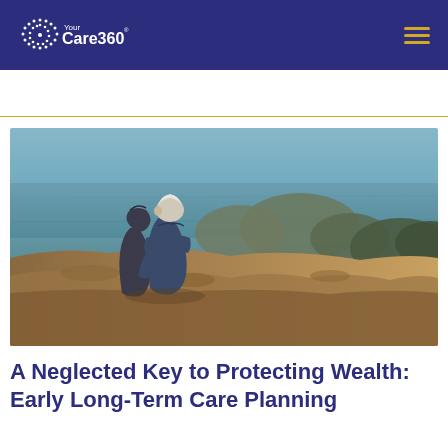Your Care360 [logo] [navigation menu]
[Figure (photo): Two elderly people sitting on rocky cliffs overlooking the ocean, viewed from behind. One wears a dark hoodie, the other a blue jacket with white hair visible.]
A Neglected Key to Protecting Wealth: Early Long-Term Care Planning